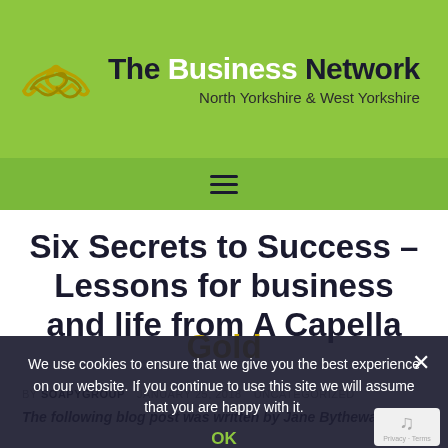[Figure (logo): The Business Network logo with handshake icon and text 'The Business Network North Yorkshire & West Yorkshire' on green header bar]
Six Secrets to Success – Lessons for business and life from A Capella Gold
We use cookies to ensure that we give you the best experience on our website. If you continue to use this site we will assume that you are happy with it.
OK
BY SOAPYGROUP   JANUARY 25, 2018   UNCATEGORIZED
The following blog post was written by Jane Bytheway